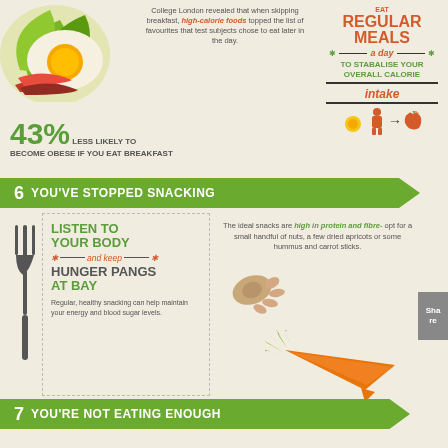College London revealed that when skipping breakfast, high-calorie foods topped the list of favourites that test subjects chose to eat later in the day.
REGULAR MEALS — a day — TO STABALISE YOUR OVERALL CALORIE intake
YOU ARE 43% LESS LIKELY TO BECOME OBESE IF YOU EAT BREAKFAST
6 YOU'VE STOPPED SNACKING
LISTEN TO YOUR BODY and keep HUNGER PANGS AT BAY
Regular, healthy snacking can help maintain your energy and blood sugar levels.
The ideal snacks are high in protein and fibre- opt for a small handful of nuts, a few dried apricots or some hummus and carrot sticks.
7 YOU'RE NOT EATING ENOUGH